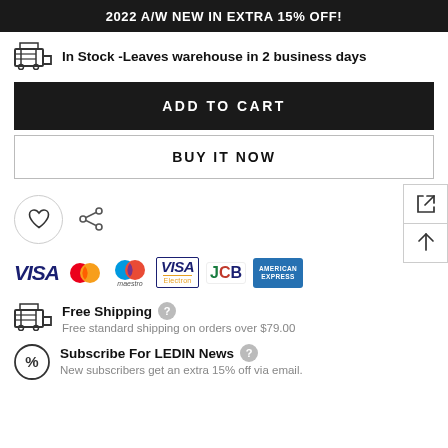2022 A/W NEW IN EXTRA 15% OFF!
In Stock -Leaves warehouse in 2 business days
ADD TO CART
BUY IT NOW
[Figure (infographic): Heart (wishlist) icon and share icon, plus side navigation arrows]
[Figure (infographic): Payment method logos: VISA, Mastercard, Maestro, VISA Electron, JCB, American Express]
Free Shipping
Free standard shipping on orders over $79.00
Subscribe For LEDIN News
New subscribers get an extra 15% off via email.